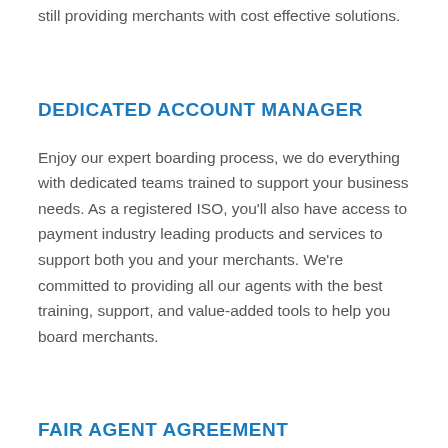still providing merchants with cost effective solutions.
DEDICATED ACCOUNT MANAGER
Enjoy our expert boarding process, we do everything with dedicated teams trained to support your business needs. As a registered ISO, you'll also have access to payment industry leading products and services to support both you and your merchants. We're committed to providing all our agents with the best training, support, and value-added tools to help you board merchants.
FAIR AGENT AGREEMENT
Gain a peace of mind knowing that you will always be paid on your accounts with lifetime residuals. EC Suite assumes